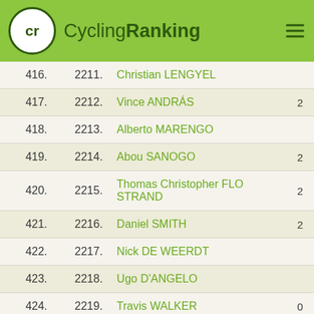CyclingRanking
| Rank | ID | Name |  |
| --- | --- | --- | --- |
| 416. | 2211. | Christian LENGYEL |  |
| 417. | 2212. | Vince ANDRÁS | 2 |
| 418. | 2213. | Alberto MARENGO |  |
| 419. | 2214. | Abou SANOGO | 2 |
| 420. | 2215. | Thomas Christopher FLO STRAND | 2 |
| 421. | 2216. | Daniel SMITH | 2 |
| 422. | 2217. | Nick DE WEERDT |  |
| 423. | 2218. | Ugo D'ANGELO |  |
| 424. | 2219. | Travis WALKER | 0 |
| 425. | 2220. | Pieter SEYFFERT | 2 |
| 426. | 2221. | Mornay VAN HEERDEN | 0 |